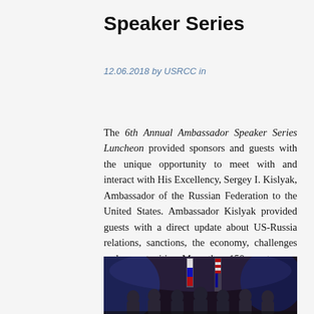Speaker Series
12.06.2018 by USRCC in
The 6th Annual Ambassador Speaker Series Luncheon provided sponsors and guests with the unique opportunity to meet with and interact with His Excellency, Sergey I. Kislyak, Ambassador of the Russian Federation to the United States. Ambassador Kislyak provided guests with a direct update about US-Russia relations, sanctions, the economy, challenges and opportunities. More than 150 guests were in attendance and came prepared with candid questions for His Excellency.
[Figure (photo): Group photo of attendees at the 6th Annual Ambassador Speaker Series Luncheon, with Russian and American flags visible in the background on a dark stage.]